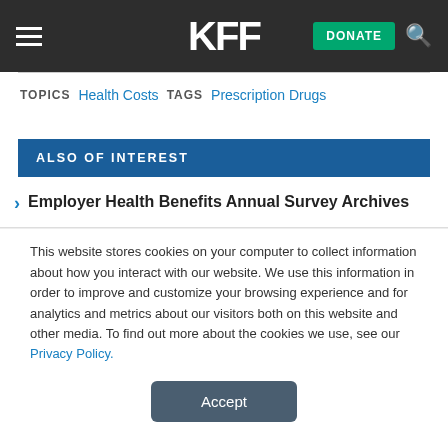KFF | DONATE
TOPICS  Health Costs  TAGS  Prescription Drugs
ALSO OF INTEREST
Employer Health Benefits Annual Survey Archives
This website stores cookies on your computer to collect information about how you interact with our website. We use this information in order to improve and customize your browsing experience and for analytics and metrics about our visitors both on this website and other media. To find out more about the cookies we use, see our Privacy Policy.
Accept